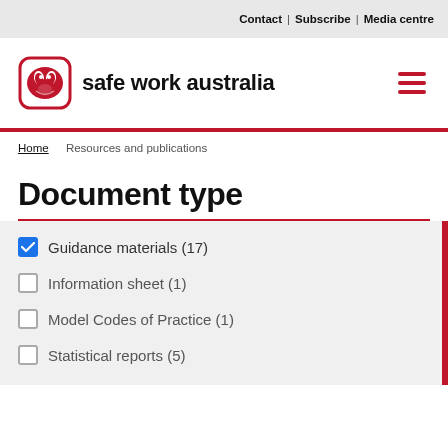Contact | Subscribe | Media centre
[Figure (logo): Safe Work Australia logo with kangaroo icon and text 'safe work australia']
Home > Resources and publications
Document type
☑ Guidance materials (17)
☐ Information sheet (1)
☐ Model Codes of Practice (1)
☐ Statistical reports (5)